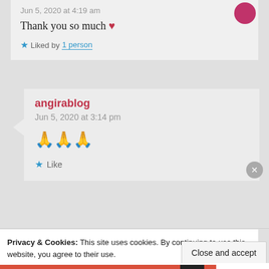Jun 5, 2020 at 4:19 am
Thank you so much ❤
★ Liked by 1 person
angirablog
Jun 5, 2020 at 3:14 pm
🙏🙏🙏
★ Like
Privacy & Cookies: This site uses cookies. By continuing to use this website, you agree to their use.
To find out more, including how to control cookies, see here: Cookie Policy
Close and accept